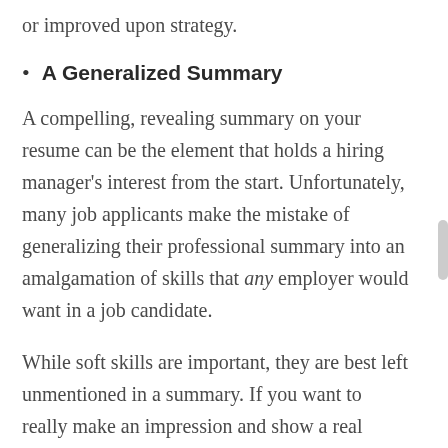or improved upon strategy.
A Generalized Summary
A compelling, revealing summary on your resume can be the element that holds a hiring manager's interest from the start. Unfortunately, many job applicants make the mistake of generalizing their professional summary into an amalgamation of skills that any employer would want in a job candidate.
While soft skills are important, they are best left unmentioned in a summary. If you want to really make an impression and show a real interest within a specific career field, detail professional strengths, improvements and